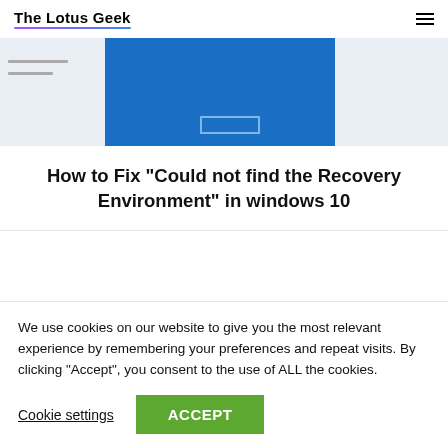The Lotus Geek
[Figure (screenshot): Screenshot of a Windows 10 recovery environment dialog or blue screen interface, partially cropped at the top]
How to Fix "Could not find the Recovery Environment" in windows 10
Related Articles
Fix Media Creation Tool Error 0x80072f8f 0x20000
[Figure (photo): Partially visible image of a keyboard, grayscale, cropped at bottom]
We use cookies on our website to give you the most relevant experience by remembering your preferences and repeat visits. By clicking “Accept”, you consent to the use of ALL the cookies.